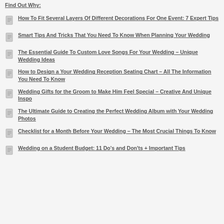Find Out Why:
How To Fit Several Layers Of Different Decorations For One Event: 7 Expert Tips
Smart Tips And Tricks That You Need To Know When Planning Your Wedding
The Essential Guide To Custom Love Songs For Your Wedding – Unique Wedding Ideas
How to Design a Your Wedding Reception Seating Chart – All The Information You Need To Know
Wedding Gifts for the Groom to Make Him Feel Special – Creative And Unique Inspo
The Ultimate Guide to Creating the Perfect Wedding Album with Your Wedding Photos
Checklist for a Month Before Your Wedding – The Most Crucial Things To Know
Wedding on a Student Budget: 11 Do's and Don'ts + Important Tips